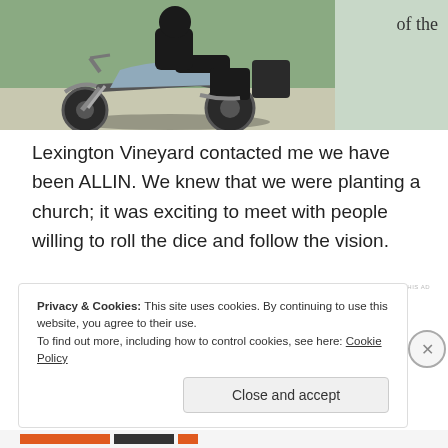[Figure (photo): A person riding a large touring motorcycle (appears to be a Harley-Davidson) on a road, wearing black gear. The photo is partially visible, cut off on the left side.]
of the
Lexington Vineyard contacted me we have been ALLIN. We knew that we were planting a church; it was exciting to meet with people willing to roll the dice and follow the vision.
Privacy & Cookies: This site uses cookies. By continuing to use this website, you agree to their use.
To find out more, including how to control cookies, see here: Cookie Policy
Close and accept